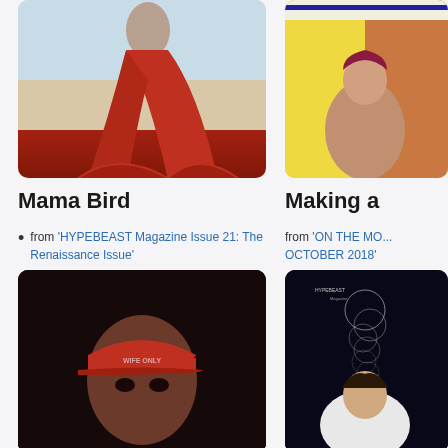[Figure (photo): Woman in red dress on beach, partially cropped at top]
[Figure (photo): Person holding child, colorful background, partially visible right side]
Mama Bird
Making a
from 'HYPEBEAST Magazine Issue 21: The Renaissance Issue'
from 'ON THE MO... OCTOBER 2018'
[Figure (photo): Person wearing red cap, dark background]
[Figure (photo): Man in white shirt with swirling lines/circles graphic, dark background]
The Second Coming: Reginald Sy
Lauv